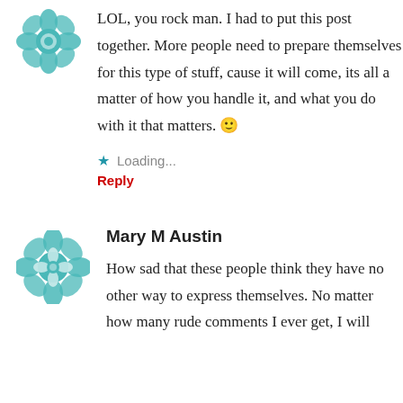LOL, you rock man. I had to put this post together. More people need to prepare themselves for this type of stuff, cause it will come, its all a matter of how you handle it, and what you do with it that matters. 🙂
Loading...
Reply
Mary M Austin
How sad that these people think they have no other way to express themselves. No matter how many rude comments I ever get, I will